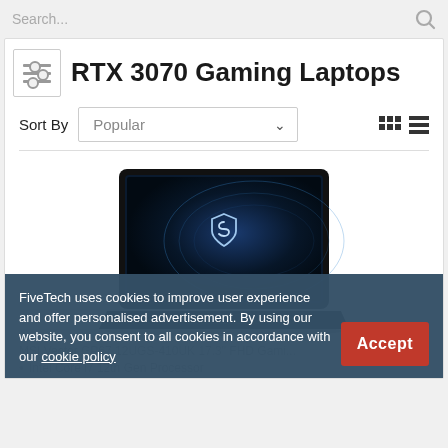Search...
RTX 3070 Gaming Laptops
Sort By  Popular
[Figure (photo): MSI gaming laptop open with glowing screen showing MSI shield logo on a dark blue background]
MSI Vector GP67 12UGS-410UK 17.3" FHD Gami... Intel Core i7 12th Gen Processor
FiveTech uses cookies to improve user experience and offer personalised advertisement. By using our website, you consent to all cookies in accordance with our cookie policy